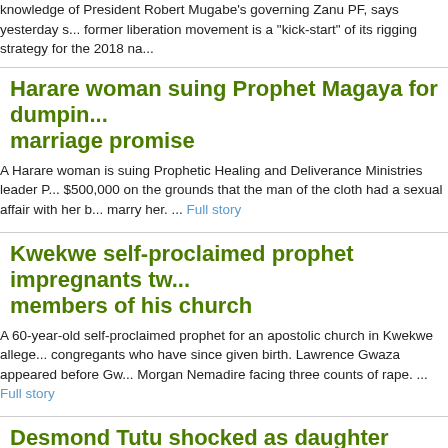knowledge of President Robert Mugabe's governing Zanu PF, says yesterday s... former liberation movement is a "kick-start" of its rigging strategy for the 2018 na...
Harare woman suing Prophet Magaya for dumping marriage promise
A Harare woman is suing Prophetic Healing and Deliverance Ministries leader P... $500,000 on the grounds that the man of the cloth had a sexual affair with her b... marry her. ... Full story
Kwekwe self-proclaimed prophet impregnants two members of his church
A 60-year-old self-proclaimed prophet for an apostolic church in Kwekwe alleg... congregants who have since given birth. Lawrence Gwaza appeared before Gw... Morgan Nemadire facing three counts of rape. ... Full story
Desmond Tutu shocked as daughter abandons priesthood to marry a woman
Emeritus Desmond Tutu of South Africa has given up her clergy credentials afte... The Rev. Mpho Tutu told the local media that since her church did not recognize... longer serve in the country. ... Full story
South Africa about to ban Zimbabweans staying past passport expiry date